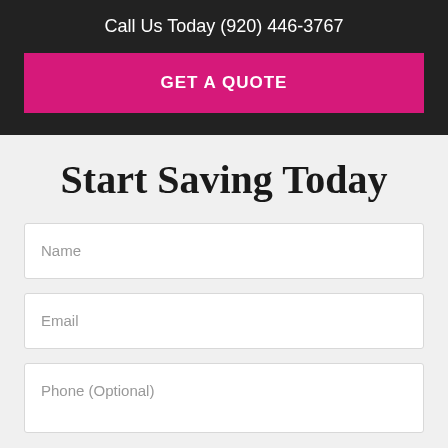Call Us Today (920) 446-3767
GET A QUOTE
Start Saving Today
Name
Email
Phone (Optional)